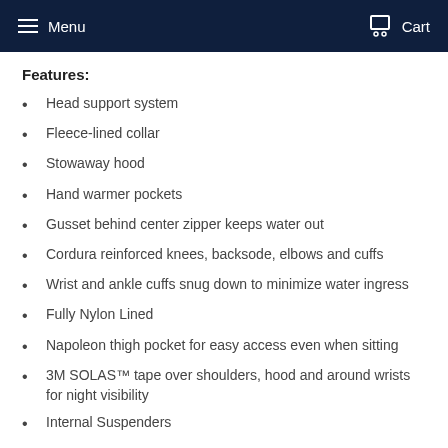Menu   Cart
Features:
Head support system
Fleece-lined collar
Stowaway hood
Hand warmer pockets
Gusset behind center zipper keeps water out
Cordura reinforced knees, backsode, elbows and cuffs
Wrist and ankle cuffs snug down to minimize water ingress
Fully Nylon Lined
Napoleon thigh pocket for easy access even when sitting
3M SOLAS™ tape over shoulders, hood and around wrists for night visibility
Internal Suspenders
Certifications: